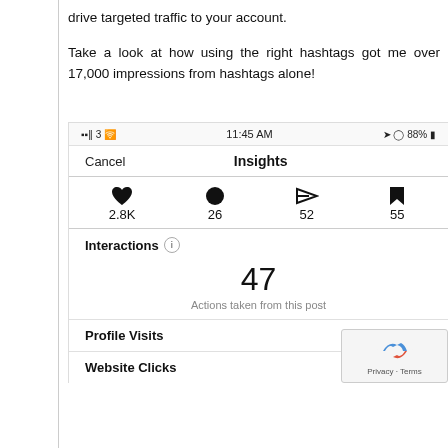drive targeted traffic to your account.
Take a look at how using the right hashtags got me over 17,000 impressions from hashtags alone!
[Figure (screenshot): Instagram Insights screenshot showing: status bar with '3 WiFi 11:45 AM 88% battery', nav bar with 'Cancel' and 'Insights' title, icons row showing heart (2.8K), speech bubble (26), send arrow (52), bookmark (55), Interactions section with info icon, large number 47 with 'Actions taken from this post', Profile Visits: 46, Website Clicks (value cut off by reCAPTCHA badge)]